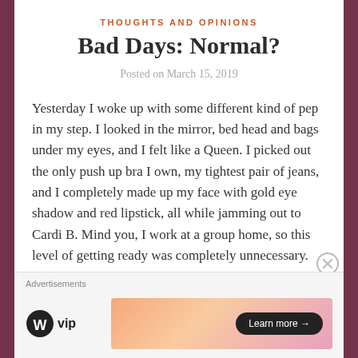THOUGHTS AND OPINIONS
Bad Days: Normal?
Posted on March 15, 2019
Yesterday I woke up with some different kind of pep in my step. I looked in the mirror, bed head and bags under my eyes, and I felt like a Queen. I picked out the only push up bra I own, my tightest pair of jeans, and I completely made up my face with gold eye shadow and red lipstick, all while jamming out to Cardi B. Mind you, I work at a group home, so this level of getting ready was completely unnecessary.
Advertisements
[Figure (logo): WordPress VIP logo and advertisement banner with 'Learn more' button]